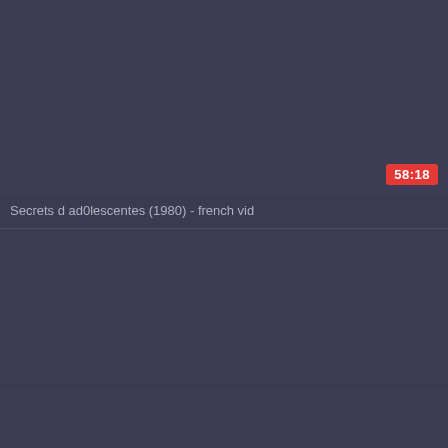[Figure (screenshot): Video thumbnail placeholder - dark blue-gray background for first video]
58:18
Secrets d ad0lescentes (1980) - french vid
[Figure (screenshot): Video thumbnail placeholder - dark blue-gray background for second video]
[Figure (screenshot): Video thumbnail placeholder - dark blue-gray background for third video]
54:31
CC Teenager Bestsellers 260